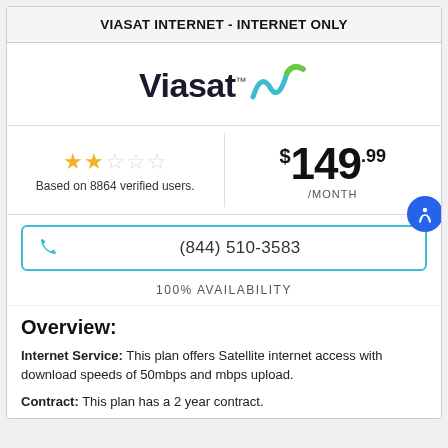VIASAT INTERNET - INTERNET ONLY
[Figure (logo): Viasat logo with stylized signal wave graphic in teal and green]
Based on 8864 verified users.
$149.99 /MONTH
(844) 510-3583
100% AVAILABILITY
Overview:
Internet Service: This plan offers Satellite internet access with download speeds of 50mbps and mbps upload.
Contract: This plan has a 2 year contract.